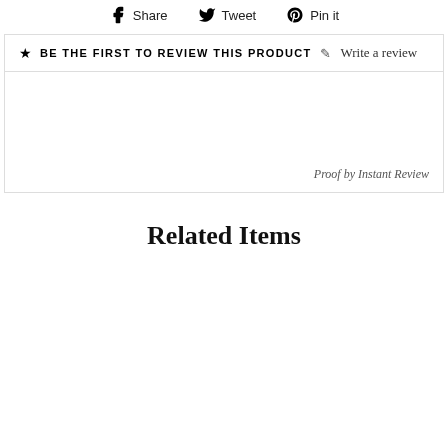Share  Tweet  Pin it
★ BE THE FIRST TO REVIEW THIS PRODUCT  ✎ Write a review
Proof by Instant Review
Related Items